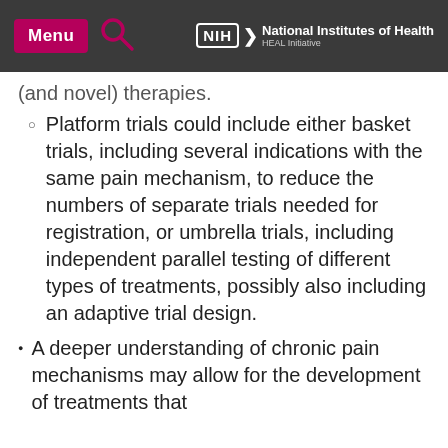Menu | NIH National Institutes of Health HEAL Initiative
(and novel) therapies.
Platform trials could include either basket trials, including several indications with the same pain mechanism, to reduce the numbers of separate trials needed for registration, or umbrella trials, including independent parallel testing of different types of treatments, possibly also including an adaptive trial design.
A deeper understanding of chronic pain mechanisms may allow for the development of treatments that